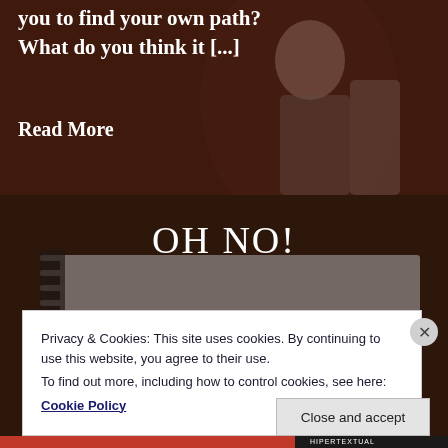you to find your own path? What do you think it [...]
Read More
[Figure (photo): Dark background photo of two people, appears to be an educational or blog context]
OH NO!
[Figure (photo): Dark background photo of a spiral notebook on a desk]
Privacy & Cookies: This site uses cookies. By continuing to use this website, you agree to their use.
To find out more, including how to control cookies, see here: Cookie Policy
Close and accept